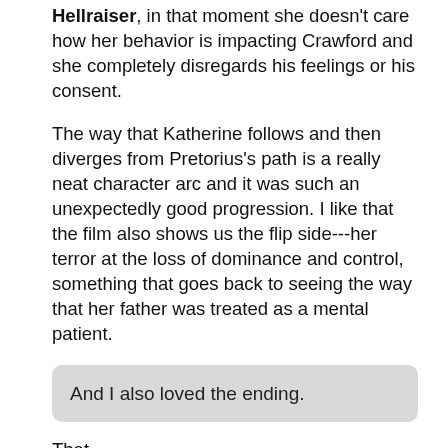Hellraiser, in that moment she doesn't care how her behavior is impacting Crawford and she completely disregards his feelings or his consent.
The way that Katherine follows and then diverges from Pretorius's path is a really neat character arc and it was such an unexpectedly good progression. I like that the film also shows us the flip side---her terror at the loss of dominance and control, something that goes back to seeing the way that her father was treated as a mental patient.
And I also loved the ending.
That
WARNING: spoilers below   View Spoilers